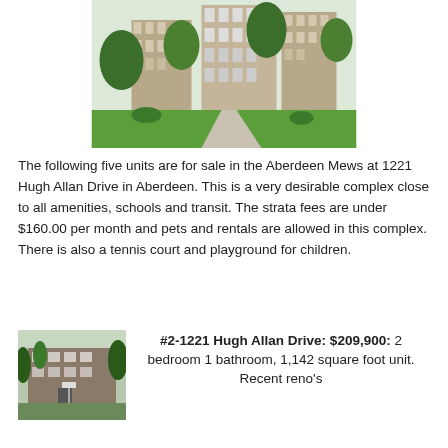[Figure (photo): Exterior rendering of Aberdeen Mews apartment complex with trees and landscaping]
The following five units are for sale in the Aberdeen Mews at 1221 Hugh Allan Drive in Aberdeen. This is a very desirable complex close to all amenities, schools and transit. The strata fees are under $160.00 per month and pets and rentals are allowed in this complex. There is also a tennis court and playground for children.
[Figure (photo): Exterior photo of unit building with trees in front]
#2-1221 Hugh Allan Drive: $209,900: 2 bedroom 1 bathroom, 1,142 square foot unit. Recent reno's